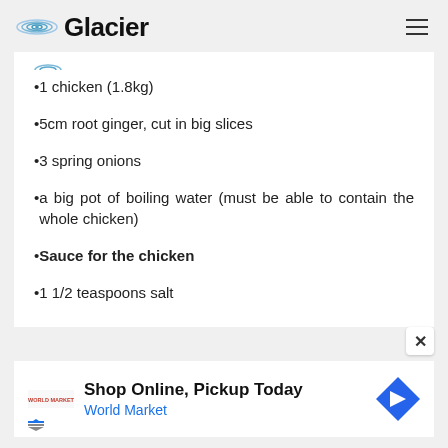Glacier
1 chicken (1.8kg)
5cm root ginger, cut in big slices
3 spring onions
a big pot of boiling water (must be able to contain the whole chicken)
Sauce for the chicken
1 1/2 teaspoons salt
[Figure (infographic): Advertisement: Shop Online, Pickup Today - World Market with navigation icon]